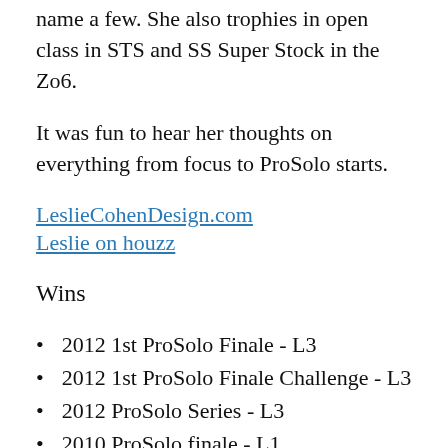name a few. She also trophies in open class in STS and SS Super Stock in the Zo6.
It was fun to hear her thoughts on everything from focus to ProSolo starts.
LeslieCohenDesign.com
Leslie on houzz
Wins
2012 1st ProSolo Finale - L3
2012 1st ProSolo Finale Challenge - L3
2012 ProSolo Series - L3
2010 ProSolo finale - L1
2010 ProSolo Serices - L1
2009 ProSolo Finale - L1